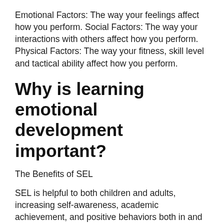Emotional Factors: The way your feelings affect how you perform. Social Factors: The way your interactions with others affect how you perform. Physical Factors: The way your fitness, skill level and tactical ability affect how you perform.
Why is learning emotional development important?
The Benefits of SEL
SEL is helpful to both children and adults, increasing self-awareness, academic achievement, and positive behaviors both in and out of the classroom. ... Students who are equipped to deal with problems that